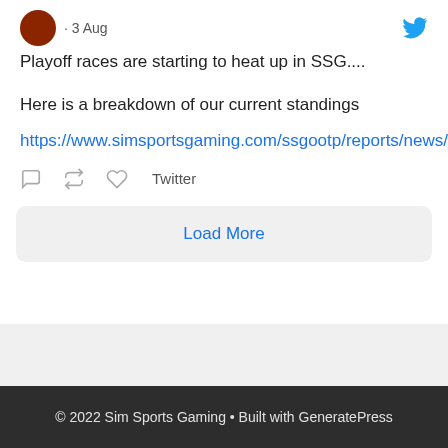· 3 Aug
Playoff races are starting to heat up in SSG....
Here is a breakdown of our current standings
https://www.simsportsgaming.com/ssgootp/reports/news/html/le…
Twitter
Load More
© 2022 Sim Sports Gaming • Built with GeneratePress